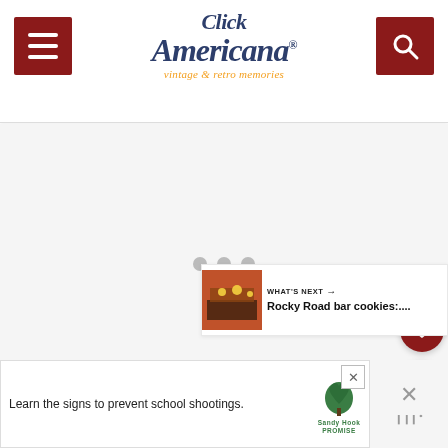Click Americana - vintage & retro memories
[Figure (screenshot): Website screenshot of Click Americana with logo, menu button (dark red), and search button (dark red)]
[Figure (other): Loading/empty content area with three gray dots]
[Figure (other): What's Next panel: Rocky Road bar cookies thumbnail with label and arrow]
Learn the signs to prevent school shootings.
[Figure (logo): Sandy Hook Promise logo - green tree]